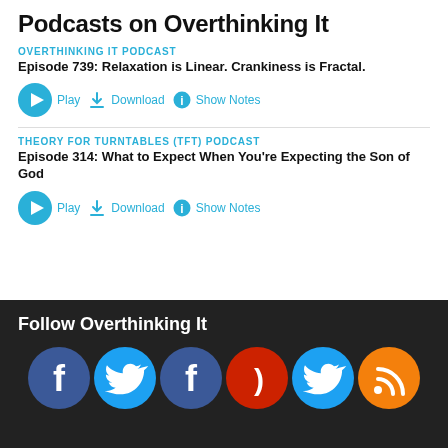Podcasts on Overthinking It
OVERTHINKING IT PODCAST
Episode 739: Relaxation is Linear. Crankiness is Fractal.
Play   Download   Show Notes
THEORY FOR TURNTABLES (TFT) PODCAST
Episode 314: What to Expect When You're Expecting the Son of God
Play   Download   Show Notes
Follow Overthinking It
[Figure (illustration): Social media follow icons: Facebook (dark blue), Twitter (cyan), Facebook (dark blue), a red icon, Twitter (cyan), and RSS (orange) on dark background]